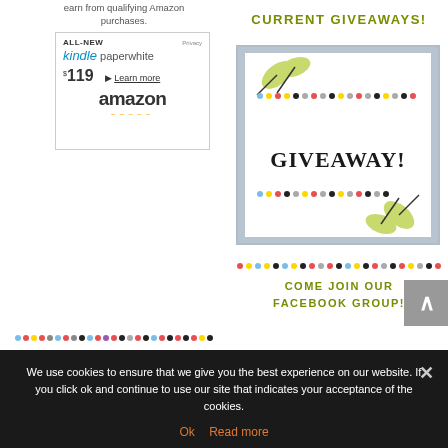earn from qualifying Amazon purchases.
[Figure (screenshot): Amazon Kindle Paperwhite ad: ALL-NEW kindle paperwhite $119 Learn more, amazon with smile logo]
[Figure (illustration): Decorative dot divider row]
CURRENT GIVEAWAYS!
[Figure (illustration): Giveaway promo image with leaves and GIVEAWAY! text on white background with blue-gray border and colorful dots]
[Figure (illustration): Colorful dot divider row]
ADVERTISE WITH JOYFULLY JAY!
[Figure (illustration): Red-bordered advertisement image with text: ADVERTISE with JOYFULLY JAY]
COME JOIN OUR FACEBOOK GROUP!
We use cookies to ensure that we give you the best experience on our website. If you click ok and continue to use our site that indicates your acceptance of the cookies.
Ok  Read more